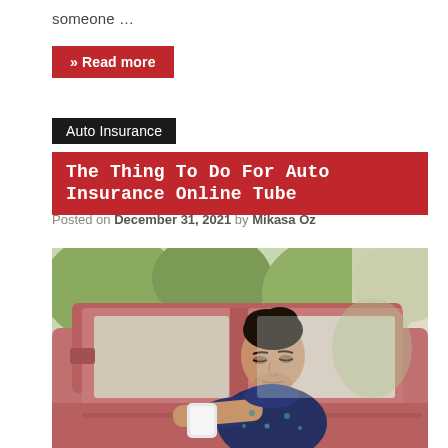someone …
» Read more
Auto Insurance
The Thing To Do For Auto Insurance Online Tube
Posted on December 31, 2021 by Mikasa Oz
[Figure (photo): Young man with dark hair sitting in driver seat of a vintage red car, looking down, wearing a dark floral shirt. Trees visible in background through car window.]